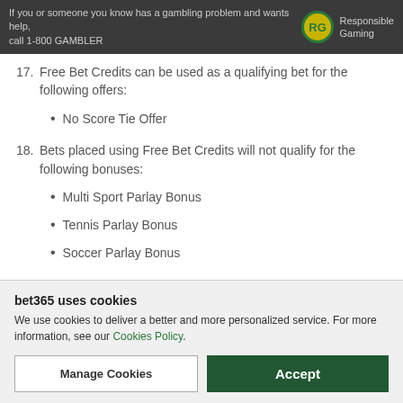If you or someone you know has a gambling problem and wants help, call 1-800 GAMBLER
17. Free Bet Credits can be used as a qualifying bet for the following offers:
No Score Tie Offer
18. Bets placed using Free Bet Credits will not qualify for the following bonuses:
Multi Sport Parlay Bonus
Tennis Parlay Bonus
Soccer Parlay Bonus
General
bet365 uses cookies
We use cookies to deliver a better and more personalized service. For more information, see our Cookies Policy.
Manage Cookies
Accept